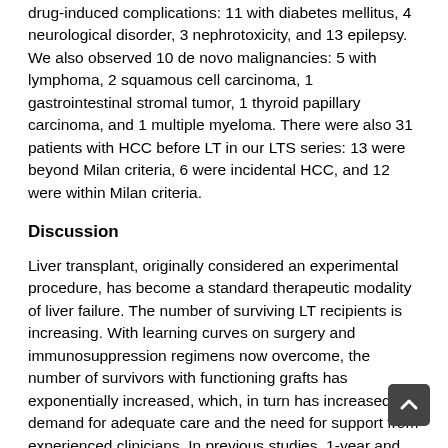drug-induced complications: 11 with diabetes mellitus, 4 neurological disorder, 3 nephrotoxicity, and 13 epilepsy. We also observed 10 de novo malignancies: 5 with lymphoma, 2 squamous cell carcinoma, 1 gastrointestinal stromal tumor, 1 thyroid papillary carcinoma, and 1 multiple myeloma. There were also 31 patients with HCC before LT in our LTS series: 13 were beyond Milan criteria, 6 were incidental HCC, and 12 were within Milan criteria.
Discussion
Liver transplant, originally considered an experimental procedure, has become a standard therapeutic modality of liver failure. The number of surviving LT recipients is increasing. With learning curves on surgery and immunosuppression regimens now overcome, the number of survivors with functioning grafts has exponentially increased, which, in turn has increased the demand for adequate care and the need for support from experienced clinicians. In previous studies, 1-year and 10-year survival rates were 90% and 60%, respectively.1,2 Most of the previously published studies have reviewed the short-term and midterm follow-ups of LTS. There are few reports in the literature of long-term LTS.